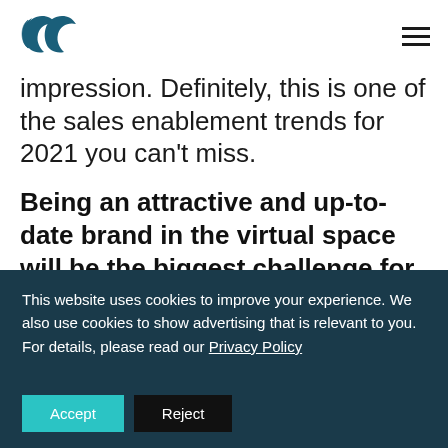[Logo] [Hamburger menu]
impression. Definitely, this is one of the sales enablement trends for 2021 you can't miss.
Being an attractive and up-to-date brand in the virtual space will be the biggest challenge for 2021, but it will also bear fruit. Be present, show who you are and
This website uses cookies to improve your experience. We also use cookies to show advertising that is relevant to you. For details, please read our Privacy Policy  Accept  Reject